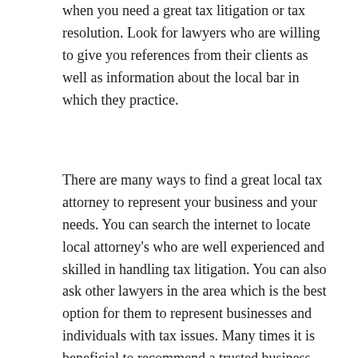when you need a great tax litigation or tax resolution. Look for lawyers who are willing to give you references from their clients as well as information about the local bar in which they practice.
There are many ways to find a great local tax attorney to represent your business and your needs. You can search the internet to locate local attorney's who are well experienced and skilled in handling tax litigation. You can also ask other lawyers in the area which is the best option for them to represent businesses and individuals with tax issues. Many times it is beneficial to recommend a trusted business lawyer to help you with your local tax issues. In most cases, those who have been practicing locally for a number of years will have